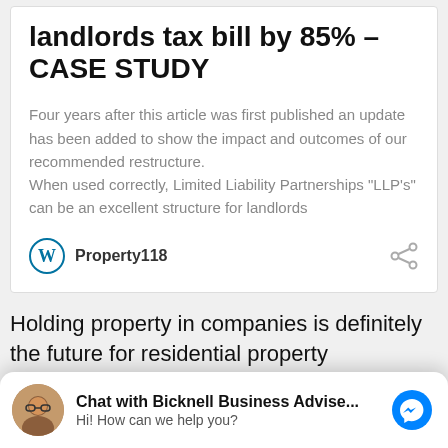landlords tax bill by 85% – CASE STUDY
Four years after this article was first published an update has been added to show the impact and outcomes of our recommended restructure. When used correctly, Limited Liability Partnerships "LLP's" can be an excellent structure for landlords
Property118
Holding property in companies is definitely the future for residential property investment
Property Investment Company?
Chat with Bicknell Business Advise... Hi! How can we help you?